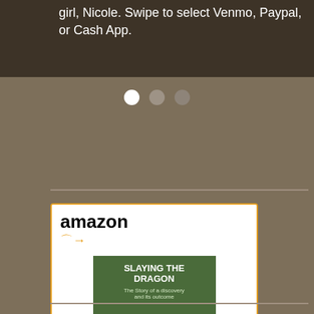girl, Nicole. Swipe to select Venmo, Paypal, or Cash App.
[Figure (screenshot): Amazon advertisement card showing 'Slaying the Dragon: The...' book priced at $64.00 with Prime, and a Shop now button]
Slaying the Dragon: The...
$64.00  Prime
Shop now